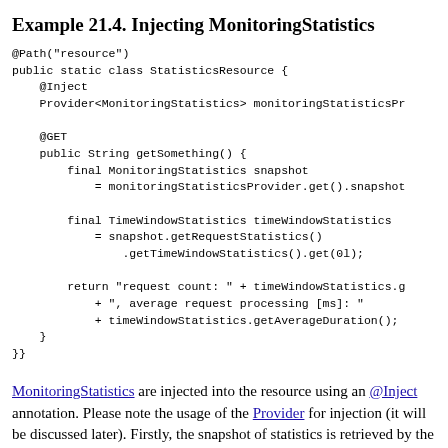Example 21.4. Injecting MonitoringStatistics
[Figure (screenshot): Java code block showing @Path("resource") public static class StatisticsResource with @Inject Provider<MonitoringStatistics> monitoringStatisticsProvider, @GET public String getSomething() method that retrieves a MonitoringStatistics snapshot, TimeWindowStatistics, and returns request count and average request processing time.]
MonitoringStatistics are injected into the resource using an @Inject annotation. Please note the usage of the Provider for injection (it will be discussed later). Firstly, the snapshot of statistics is retrieved by the snapshot() method. The snapshot of